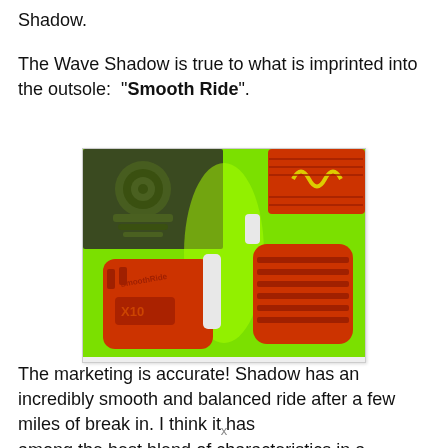Shadow.
The Wave Shadow is true to what is imprinted into the outsole: "Smooth Ride".
[Figure (photo): Close-up photograph of the outsole of the Mizuno Wave Shadow running shoe, showing bright green midsole, orange rubber outsole components with tread patterns, 'Smooth Ride' text embossed on the rubber, and an X10 logo. A Mizuno wave logo is visible in orange and yellow on the upper right.]
The marketing is accurate! Shadow has an incredibly smooth and balanced ride after a few miles of break in. I think it has among the best blend of characteristics in a performance